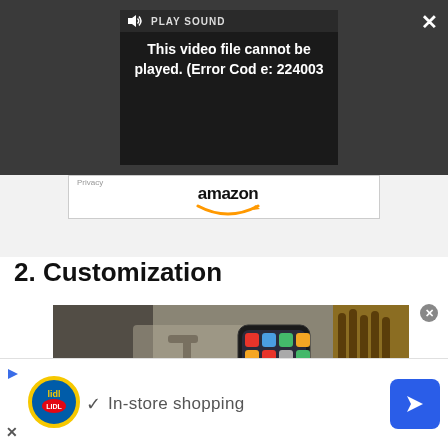[Figure (screenshot): Video player overlay on dark background showing play sound control and error message: This video file cannot be played. (Error Code: 224003). Close button (X) in top right, expand button bottom right.]
[Figure (screenshot): Amazon logo with orange smile and Privacy label on light grey strip background]
2. Customization
[Figure (photo): Blurred photo of a kitchen counter with a smartphone showing app icons, knife block, and kitchen appliances in background]
[Figure (screenshot): Advertisement bar at bottom: Lidl logo, checkmark, text 'In-store shopping', blue arrow navigation button. Close X and play button on left side.]